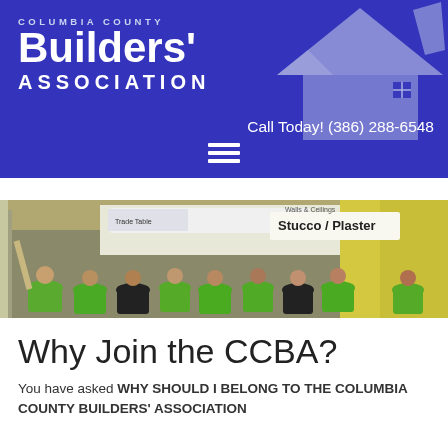Columbia County Builders' Association — Call Today! (386) 288-6548
[Figure (photo): Photo of students in green t-shirts at a trade show booth labeled 'Stucco / Plaster' and 'Walls & Ceilings', inside a large convention hall]
Why Join the CCBA?
You have asked WHY SHOULD I BELONG TO THE COLUMBIA COUNTY BUILDERS' ASSOCIATION